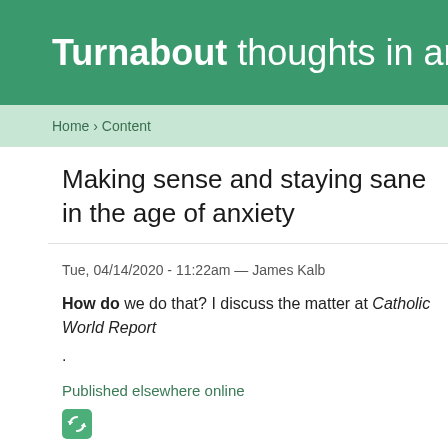Turnabout thoughts in and out of s…
Home › Content
Making sense and staying sane in the age of anxiety
Tue, 04/14/2020 - 11:22am — James Kalb
How do we do that? I discuss the matter at Catholic World Report .
Published elsewhere online
[Figure (other): Green sync/recycle icon button]
Log in or register to post comments
Comments
Same principles - different
Sun, 04/19/2020